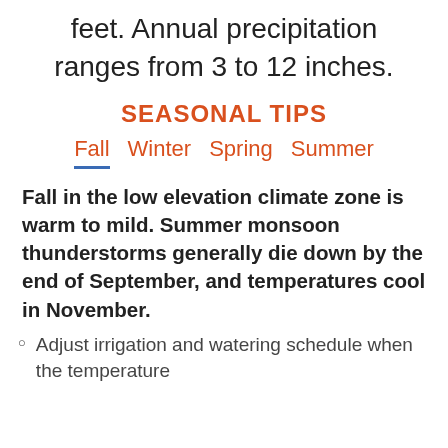feet. Annual precipitation ranges from 3 to 12 inches.
SEASONAL TIPS
Fall   Winter   Spring   Summer
Fall in the low elevation climate zone is warm to mild. Summer monsoon thunderstorms generally die down by the end of September, and temperatures cool in November.
Adjust irrigation and watering schedule when the temperature